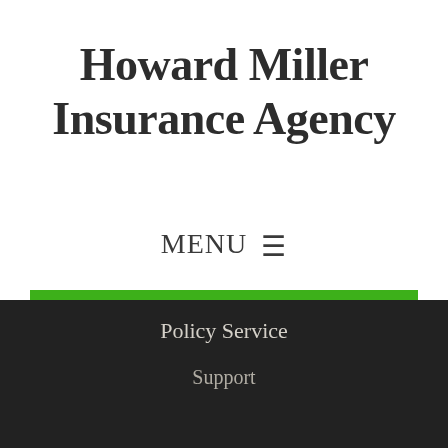Howard Miller Insurance Agency
MENU ☰
GET QUOTE
Policy Service
Support